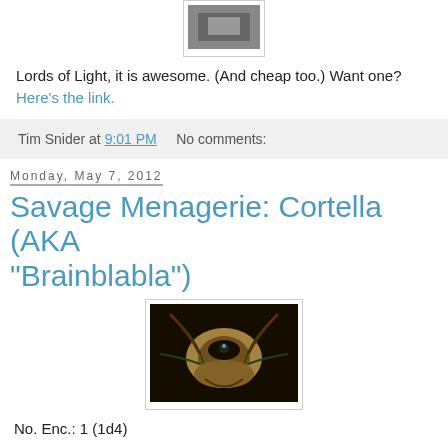[Figure (photo): Small dark/grey image at top center, partially cropped, appears to be a boxy object]
Lords of Light, it is awesome. (And cheap too.) Want one? Here's the link.
Tim Snider at 9:01 PM   No comments:
Monday, May 7, 2012
Savage Menagerie: Cortella (AKA "Brainblabla")
[Figure (illustration): Close-up illustration of an alien/insect creature with dark background, yellows, browns and blacks, intricate mandibles and shell]
No. Enc.: 1 (1d4)